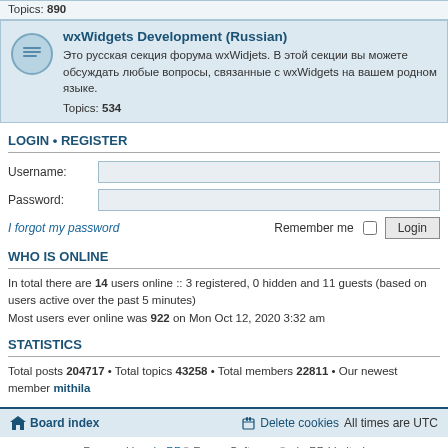Topics: 890
wxWidgets Development (Russian)
Это русская секция форума wxWidjets. В этой секции вы можете обсуждать любые вопросы, связанные с wxWidgets на вашем родном языке.
Topics: 534
LOGIN • REGISTER
Username:
Password:
I forgot my password
Remember me  Login
WHO IS ONLINE
In total there are 14 users online :: 3 registered, 0 hidden and 11 guests (based on users active over the past 5 minutes)
Most users ever online was 922 on Mon Oct 12, 2020 3:32 am
STATISTICS
Total posts 204717 • Total topics 43258 • Total members 22811 • Our newest member mithila
Board index   Delete cookies   All times are UTC
Powered by phpBB® Forum Software © phpBB Limited
Privacy | Terms